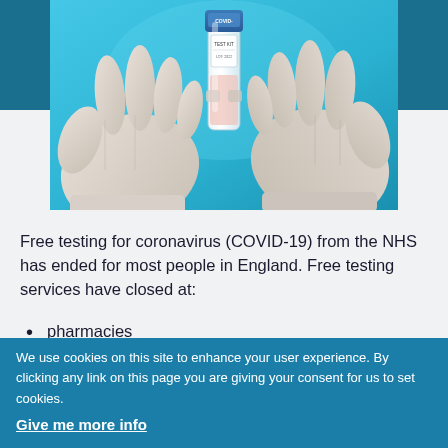[Figure (photo): Gloved hands holding a COVID-19 test tube/vial with blue background]
Free testing for coronavirus (COVID-19) from the NHS has ended for most people in England. Free testing services have closed at:
pharmacies
test sites
community collection points such as
We use cookies on this site to enhance your user experience. By clicking any link on this page you are giving your consent for us to set cookies.
Give me more info